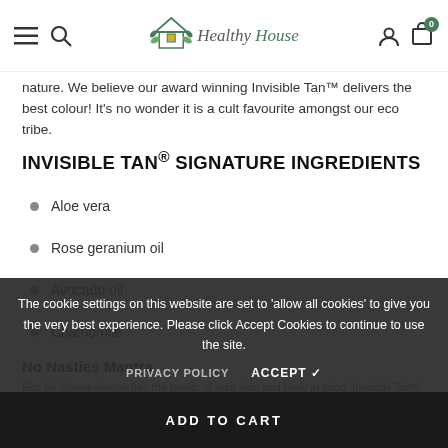Healthy House — navigation bar with menu, search, account, and cart icons
nature. We believe our award winning Invisible Tan™ delivers the best colour! It's no wonder it is a cult favourite amongst our eco tribe.
INVISIBLE TAN® SIGNATURE INGREDIENTS
Aloe vera
Rose geranium oil
Avocado oil
Chamomile
No Nasties Mantra
Eco By Sonya always has the health of your skin and body in mind. Invisible Tan® does not contain synthetic fragrances, toxic chemicals
The cookie settings on this website are set to 'allow all cookies' to give you the very best experience. Please click Accept Cookies to continue to use the site. PRIVACY POLICY   ACCEPT ✓
ADD TO CART